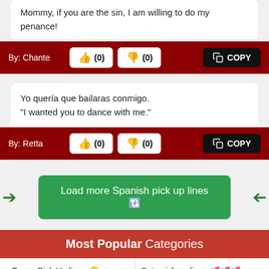Mommy, if you are the sin, I am willing to do my penance!
By: Chante  (0)  (0)  COPY
Yo quería que bailaras conmigo.
"I wanted you to dance with me."
By: Retta  (0)  (0)  COPY
Load more Spanish pick up lines 🔃
Most Popular Categories
Funny Pick Up lines 😊
Cute pick up lines 💕💕💕
Smooth pick up lines
Harry Potter pick up lines ⚡
Tinder pick up lines 🔥🔥
Pokemon pick up lines ⚡